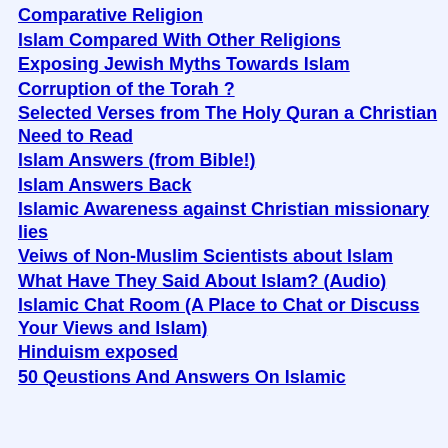Comparative Religion
Islam Compared With Other Religions
Exposing Jewish Myths Towards Islam
Corruption of the Torah ?
Selected Verses from The Holy Quran a Christian Need to Read
Islam Answers (from Bible!)
Islam Answers Back
Islamic Awareness against Christian missionary lies
Veiws of Non-Muslim Scientists about Islam
What Have They Said About Islam? (Audio)
Islamic Chat Room (A Place to Chat or Discuss Your Views and Islam)
Hinduism exposed
50 Qeustions And Answers On Islamic